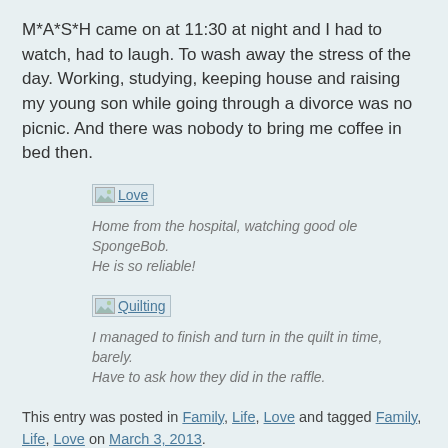M*A*S*H came on at 11:30 at night and I had to watch, had to laugh. To wash away the stress of the day. Working, studying, keeping house and raising my young son while going through a divorce was no picnic. And there was nobody to bring me coffee in bed then.
[Figure (photo): Broken image placeholder with link labeled 'Love']
Home from the hospital, watching good ole SpongeBob.
He is so reliable!
[Figure (photo): Broken image placeholder with link labeled 'Quilting']
I managed to finish and turn in the quilt in time, barely.
Have to ask how they did in the raffle.
This entry was posted in Family, Life, Love and tagged Family, Life, Love on March 3, 2013.